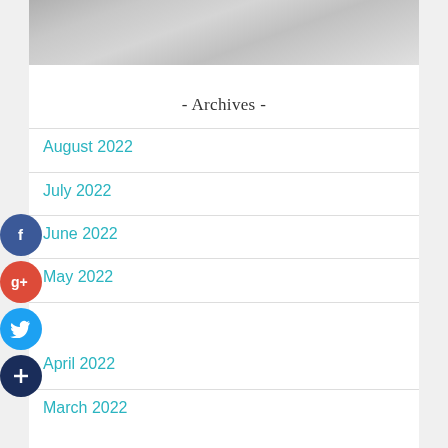[Figure (photo): Black and white photo cropped at top, showing fabric/clothing texture in grayscale]
- Archives -
August 2022
July 2022
June 2022
May 2022
April 2022
March 2022